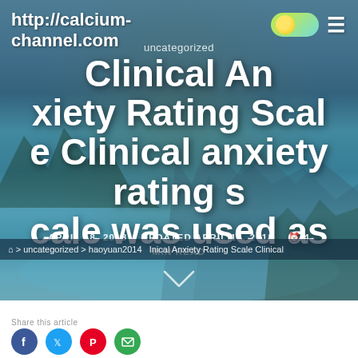http://calcium-channel.com
uncategorized
Clinical Anxiety Rating Scale Clinical anxiety rating scale was used as
APRIL 18, 2018  UPDATED APRIL 18, 2018  4 MIN READ
> uncategorized > Inical Anxiety Rating Scale Clinical
haoyuan2014